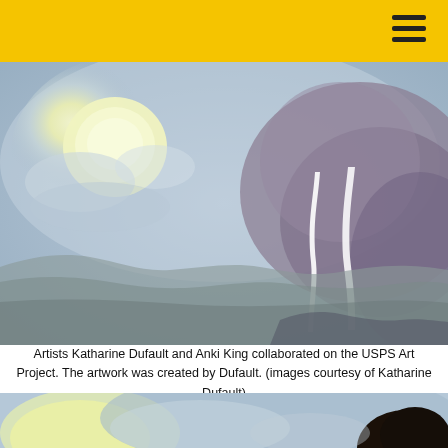[Figure (illustration): Watercolor painting showing a glowing yellow-white sun or moon in a soft blue-grey sky with rolling grey hills in the foreground and two white drip-like streaks on the right side over brownish-purple cloud forms.]
Artists Katharine Dufault and Anki King collaborated on the USPS Art Project. The artwork was created by Dufault. (images courtesy of Katharine Dufault)
[Figure (illustration): Partial view of a second watercolor painting showing a yellow splash of color on the left, blue-grey background, and a person's dark hair visible at the right edge.]